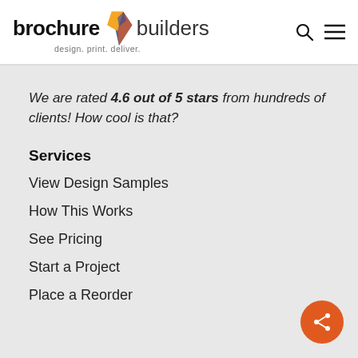brochure builders — design. print. deliver.
We are rated 4.6 out of 5 stars from hundreds of clients! How cool is that?
Services
View Design Samples
How This Works
See Pricing
Start a Project
Place a Reorder